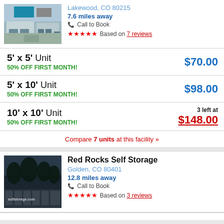Lakewood, CO 80215
7.6 miles away
Call to Book
★★★★★ Based on 7 reviews
5' x 5' Unit | 50% OFF FIRST MONTH! | $70.00
5' x 10' Unit | 50% OFF FIRST MONTH! | $98.00
10' x 10' Unit | 50% OFF FIRST MONTH! | 3 left at $148.00
Compare 7 units at this facility »
Red Rocks Self Storage
Golden, CO 80401
12.8 miles away
Call to Book
★★★★★ Based on 3 reviews